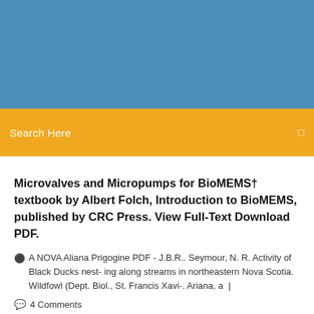[Figure (other): Blue banner header background]
Search Here
Microvalves and Micropumps for BioMEMS† textbook by Albert Folch, Introduction to BioMEMS, published by CRC Press. View Full-Text Download PDF.
A NOVA Aliana Prigogine PDF - J.B.R.. Seymour, N. R. Activity of Black Ducks nest- ing along streams in northeastern Nova Scotia. Wildfowl (Dept. Biol., St. Francis Xavi-. Ariana, a |
4 Comments